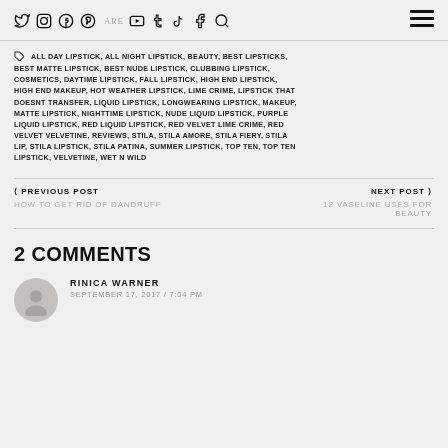Social media icons: Twitter, Instagram, Facebook, Pinterest, YouTube, Tumblr, TikTok, Facebook, Search | SHARE | Hamburger menu
ALL DAY LIPSTICK, ALL NIGHT LIPSTICK, BEAUTY, BEST LIPSTICKS, BEST MATTE LIPSTICK, BEST NUDE LIPSTICK, CLUBBING LIPSTICK, COSMETICS, DAYTIME LIPSTICK, FALL LIPSTICK, HIGH END LIPSTICK, HIGH END MAKEUP, HOT WEATHER LIPSTICK, LIME CRIME, LIPSTICK THAT DOESNT TRANSFER, LIQUID LIPSTICK, LONGWEARING LIPSTICK, MAKEUP, MATTE LIPSTICK, NIGHTTIME LIPSTICK, NUDE LIQUID LIPSTICK, PURPLE LIQUID LIPSTICK, RED LIQUID LIPSTICK, RED VELVET LIME CRIME, RED VELVET VELVETINE, REVIEWS, STILA, STILA AMORE, STILA FIERY, STILA LIP, STILA LIPSTICK, STILA PATINA, SUMMER LIPSTICK, TOP TEN, TOP TEN LIPSTICK, VELVETINE, WET N WILD
< PREVIOUS POST
HOW TO GET RID OF DANDRUFF
NEXT POST >
12 VASELINE USES FOR BEAUTY
2 COMMENTS
RINICA WARNER
SEPTEMBER 17, 2017 / 7:04 PM